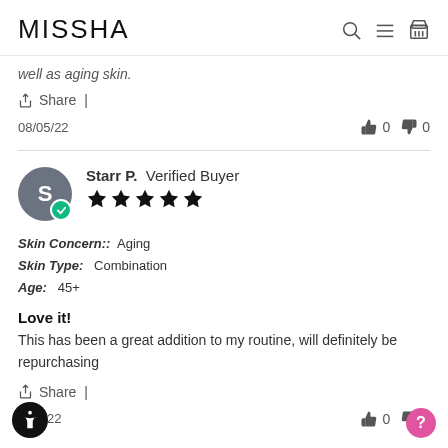MISSHA
well as aging skin.
Share |
08/05/22   👍 0   👎 0
Starr P.  Verified Buyer  ★★★★★
Skin Concern::  Aging
Skin Type:  Combination
Age:  45+
Love it!
This has been a great addition to my routine, will definitely be repurchasing
Share |
8/04/22   👍 0   👎 0